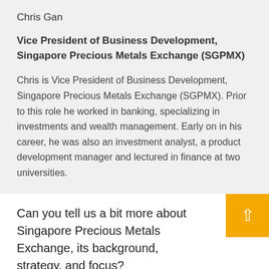Chris Gan
Vice President of Business Development, Singapore Precious Metals Exchange (SGPMX)
Chris is Vice President of Business Development, Singapore Precious Metals Exchange (SGPMX). Prior to this role he worked in banking, specializing in investments and wealth management. Early on in his career, he was also an investment analyst, a product development manager and lectured in finance at two universities.
Can you tell us a bit more about Singapore Precious Metals Exchange, its background, strategy, and focus?